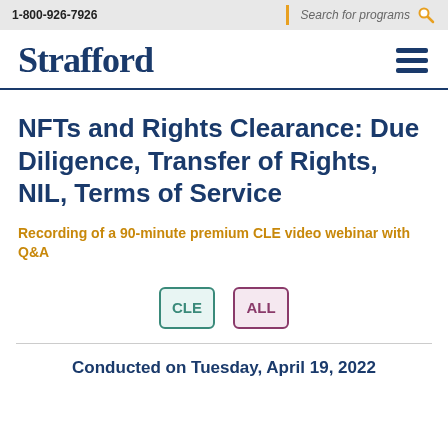1-800-926-7926 | Search for programs
Strafford
NFTs and Rights Clearance: Due Diligence, Transfer of Rights, NIL, Terms of Service
Recording of a 90-minute premium CLE video webinar with Q&A
[Figure (other): Two badge icons labeled CLE and ALL]
Conducted on Tuesday, April 19, 2022